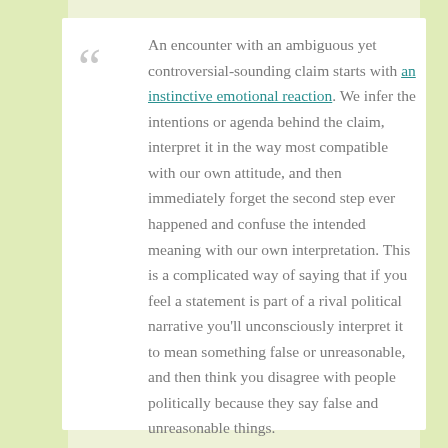An encounter with an ambiguous yet controversial-sounding claim starts with an instinctive emotional reaction. We infer the intentions or agenda behind the claim, interpret it in the way most compatible with our own attitude, and then immediately forget the second step ever happened and confuse the intended meaning with our own interpretation. This is a complicated way of saying that if you feel a statement is part of a rival political narrative you'll unconsciously interpret it to mean something false or unreasonable, and then think you disagree with people politically because they say false and unreasonable things.